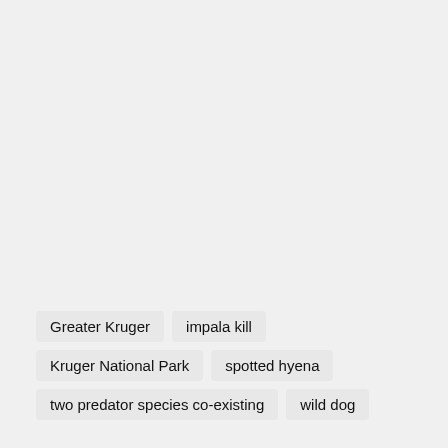Greater Kruger
impala kill
Kruger National Park
spotted hyena
two predator species co-existing
wild dog